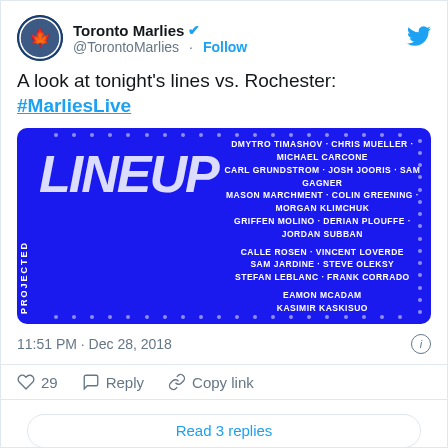Toronto Marlies @TorontoMarlies · Follow
A look at tonight's lines vs. Rochester: #MarliesLive
[Figure (infographic): Blue projected lineup card showing: Forwards: DMYTRO TIMASHOV - CHRIS MUELLER - MICHAEL CARCONE / CARL GRUNDSTROM - JOSH JOORIS - SAM GAGNER / MASON MARCHMENT - COLIN GREENING - MORGAN KLIMCHUK / GRIFFEN MOLINO - DERIAN PLOUFFE - JORDAN SUBBAN. Defense: CALLE ROSEN - VINCENT LOVERDE / SAM JARDINE - STEVE OLEKSY / STEFAN LEBLANC - FRANK CORRADO. Goalies: EAMON MCADAM / KASIMIR KASKISUO]
11:51 PM · Dec 28, 2018
29  Reply  Copy link
Read 3 replies